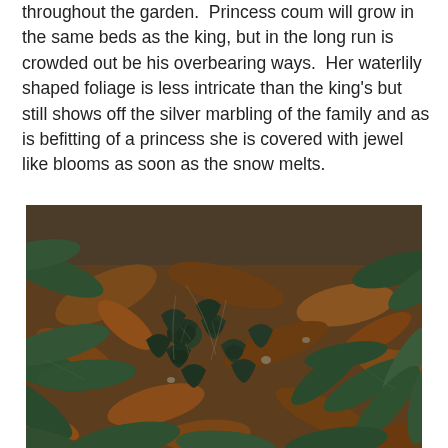throughout the garden.  Princess coum will grow in the same beds as the king, but in the long run is crowded out be his overbearing ways.  Her waterlily shaped foliage is less intricate than the king's but still shows off the silver marbling of the family and as is befitting of a princess she is covered with jewel like blooms as soon as the snow melts.
[Figure (photo): Close-up photograph of garden ground with cyclamen coum plants showing small rounded dark green leaves with silver marbling, surrounded by fallen brown leaves and other broader green foliage.]